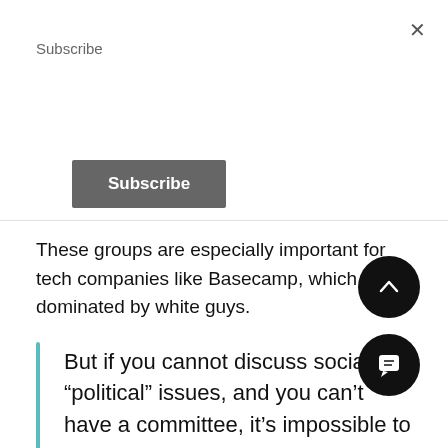Subscribe
Subscribe
These groups are especially important for tech companies like Basecamp, which are dominated by white guys.
But if you cannot discuss social or “political” issues, and you can’t have a committee, it’s impossible to have employee resource groups.
And if you ban any possibility of employee resource groups, you have